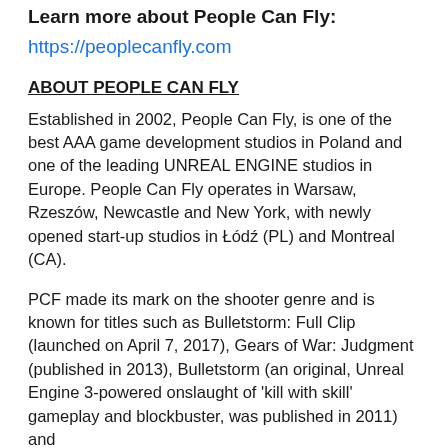Learn more about People Can Fly:
https://peoplecanfly.com
ABOUT PEOPLE CAN FLY
Established in 2002, People Can Fly, is one of the best AAA game development studios in Poland and one of the leading UNREAL ENGINE studios in Europe. People Can Fly operates in Warsaw, Rzeszów, Newcastle and New York, with newly opened start-up studios in Łódź (PL) and Montreal (CA).
PCF made its mark on the shooter genre and is known for titles such as Bulletstorm: Full Clip (launched on April 7, 2017), Gears of War: Judgment (published in 2013), Bulletstorm (an original, Unreal Engine 3-powered onslaught of 'kill with skill' gameplay and blockbuster, was published in 2011) and...